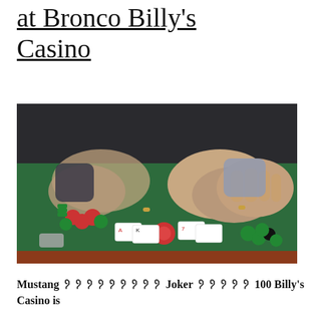at Bronco Billy's Casino
[Figure (photo): Close-up photo of hands at a casino blackjack table with green felt, playing cards, and poker chips scattered on the table surface.]
Mustang ᠀᠀᠀᠀᠀᠀᠀᠀᠀ Joker ᠀᠀᠀᠀᠀ 100 Billy's Casino is